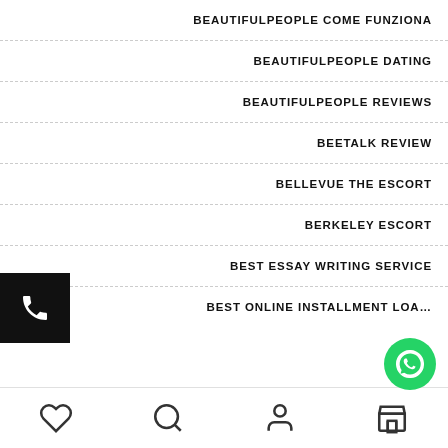BEAUTIFULPEOPLE COME FUNZIONA
BEAUTIFULPEOPLE DATING
BEAUTIFULPEOPLE REVIEWS
BEETALK REVIEW
BELLEVUE THE ESCORT
BERKELEY ESCORT
BEST ESSAY WRITING SERVICE
BEST ONLINE INSTALLMENT LOA…
[Figure (other): Black square phone call widget button on left side]
[Figure (other): Green circular WhatsApp chat widget button on bottom right]
Heart icon | Search icon | Person icon | Store icon